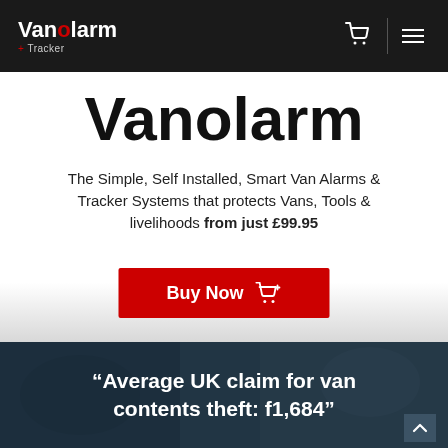Vanolarm + Tracker — navigation bar with logo, cart icon, and menu
Vanolarm
The Simple, Self Installed, Smart Van Alarms & Tracker Systems that protects Vans, Tools & livelihoods from just £99.95
[Figure (other): Red Buy Now button with shopping cart icon]
[Figure (photo): Background photo of van interior/dashboard (break-in scene), with overlaid italic quote text: Average UK claim for van contents theft: f1,684]